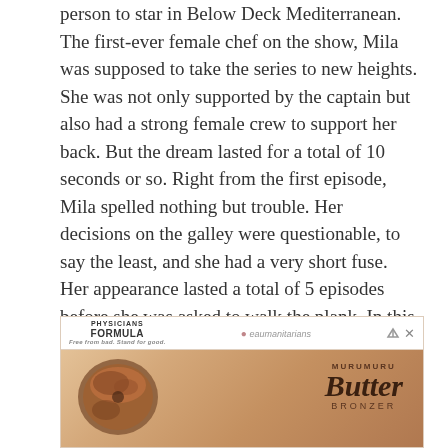person to star in Below Deck Mediterranean. The first-ever female chef on the show, Mila was supposed to take the series to new heights. She was not only supported by the captain but also had a strong female crew to support her back. But the dream lasted for a total of 10 seconds or so. Right from the first episode, Mila spelled nothing but trouble. Her decisions on the galley were questionable, to say the least, and she had a very short fuse. Her appearance lasted a total of 5 episodes before she was asked to walk the plank. In this article, we will take a closer look at what little is known about Mila Kolomeitseva.
[Figure (other): Advertisement for Physicians Formula Beaumanitarians Murumuru Butter Bronzer product, showing a bronzer compact with brown powder]